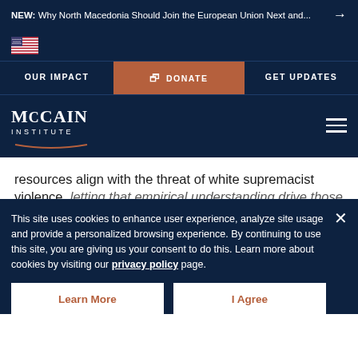NEW: Why North Macedonia Should Join the European Union Next and... →
[Figure (logo): US flag icon]
OUR IMPACT | DONATE | GET UPDATES
[Figure (logo): McCain Institute logo with arc decoration]
resources align with the threat of white supremacist violence, letting that empirical understanding drive those resources.
Fahrida Circus
You... proposals across a number of categories that the federal gove... recommend... unch — getting the president to vocally oppose white
This site uses cookies to enhance user experience, analyze site usage and provide a personalized browsing experience. By continuing to use this site, you are giving us your consent to do this. Learn more about cookies by visiting our privacy policy page.
Learn More
I Agree